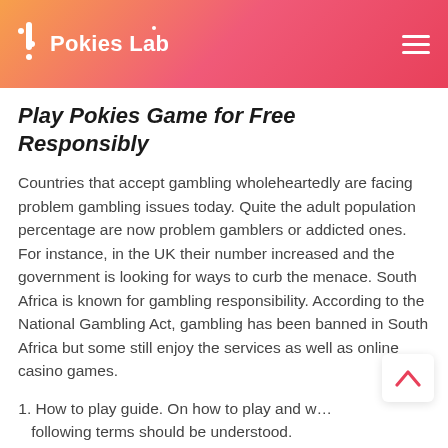Pokies Lab
Play Pokies Game for Free Responsibly
Countries that accept gambling wholeheartedly are facing problem gambling issues today. Quite the adult population percentage are now problem gamblers or addicted ones. For instance, in the UK their number increased and the government is looking for ways to curb the menace. South Africa is known for gambling responsibility. According to the National Gambling Act, gambling has been banned in South Africa but some still enjoy the services as well as online casino games.
1. How to play guide. On how to play and w… following terms should be understood.
2. Odds. Odds are probabilities of winning. It is